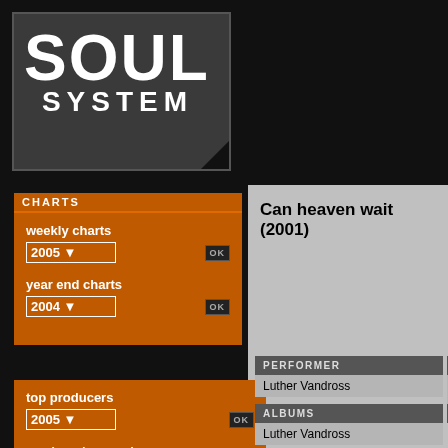[Figure (screenshot): Soul System logo with large white SOUL text and SYSTEM below on dark grey background]
CHARTS
weekly charts
2005
year end charts
2004
top producers
2005
producer's search
Timbaland
Can heaven wait (2001)
PERFORMER
Luther Vandross
PRODUCER
Soulshock Karlin
ALBUMS
Luther Vandross
CHART PE